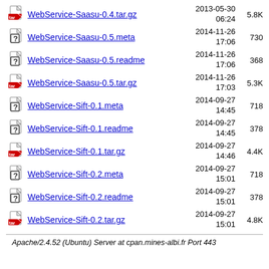WebService-Saasu-0.4.tar.gz  2013-05-30 06:24  5.8K
WebService-Saasu-0.5.meta  2014-11-26 17:06  730
WebService-Saasu-0.5.readme  2014-11-26 17:06  368
WebService-Saasu-0.5.tar.gz  2014-11-26 17:03  5.3K
WebService-Sift-0.1.meta  2014-09-27 14:45  718
WebService-Sift-0.1.readme  2014-09-27 14:45  378
WebService-Sift-0.1.tar.gz  2014-09-27 14:46  4.4K
WebService-Sift-0.2.meta  2014-09-27 15:01  718
WebService-Sift-0.2.readme  2014-09-27 15:01  378
WebService-Sift-0.2.tar.gz  2014-09-27 15:01  4.8K
Apache/2.4.52 (Ubuntu) Server at cpan.mines-albi.fr Port 443